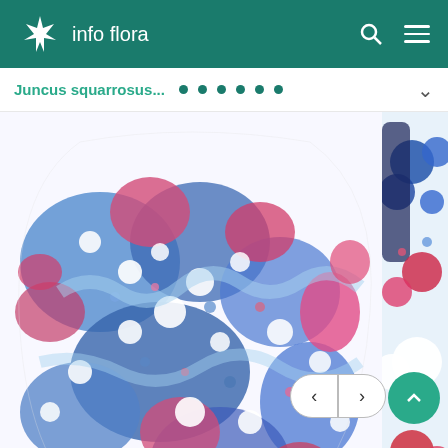info flora
Juncus squarrosus...
[Figure (photo): Microscopic cross-section image of Juncus squarrosus stem at 100x magnification, showing blue, red/pink, and white cellular structures including vascular bundles and intercellular spaces.]
Stems, 100x
[Figure (photo): Partial microscopic cross-section image of Juncus squarrosus stem (partially visible on right side), showing similar blue and red cellular structures.]
Stem
Summary of stem anatomy (Ger
Umriss rund oder oval. Leitbündel in mehreren Reihen. Grosse, unregelmässige Intercellularen